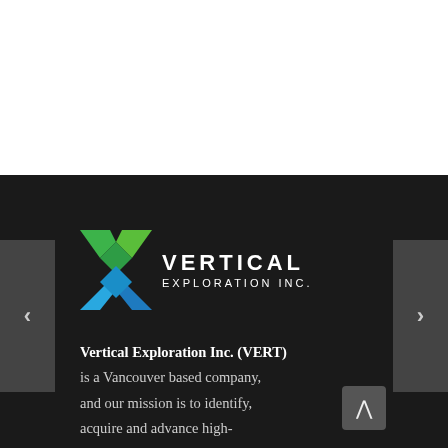[Figure (logo): Vertical Exploration Inc. logo — stylized X shape in green and blue with white text 'VERTICAL EXPLORATION INC.' on dark background]
Vertical Exploration Inc. (VERT) is a Vancouver based company, and our mission is to identify, acquire and advance high-potential mining prospects located in North America for the